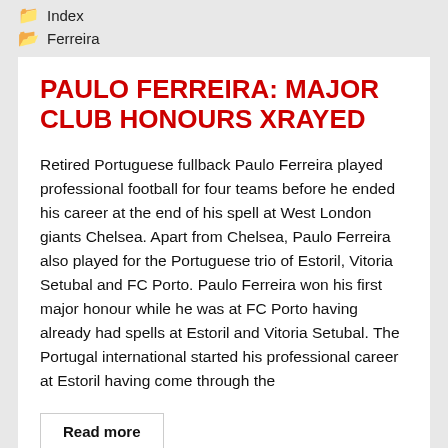Index
Ferreira
PAULO FERREIRA: MAJOR CLUB HONOURS XRAYED
Retired Portuguese fullback Paulo Ferreira played professional football for four teams before he ended his career at the end of his spell at West London giants Chelsea. Apart from Chelsea, Paulo Ferreira also played for the Portuguese trio of Estoril, Vitoria Setubal and FC Porto. Paulo Ferreira won his first major honour while he was at FC Porto having already had spells at Estoril and Vitoria Setubal. The Portugal international started his professional career at Estoril having come through the
Read more